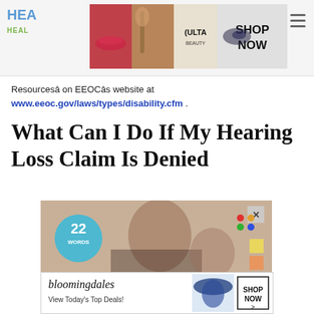HE HEAL
[Figure (photo): ULTA beauty advertisement banner at top of page with makeup images and 'SHOP NOW' text]
Resourcesâ on EEOCâs website at www.eeoc.gov/laws/types/disability.cfm .
What Can I Do If My Hearing Loss Claim Is Denied
[Figure (photo): Advertisement showing a woman and child, with '22 WORDS' badge and a close button]
[Figure (photo): Bloomingdales advertisement banner: 'bloomingdales View Today's Top Deals! SHOP NOW >']